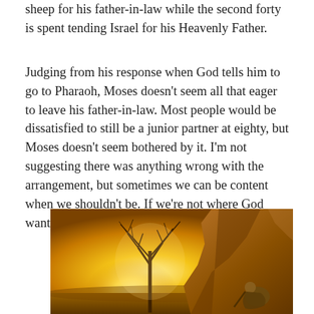sheep for his father-in-law while the second forty is spent tending Israel for his Heavenly Father.
Judging from his response when God tells him to go to Pharaoh, Moses doesn't seem all that eager to leave his father-in-law. Most people would be dissatisfied to still be a junior partner at eighty, but Moses doesn't seem bothered by it. I'm not suggesting there was anything wrong with the arrangement, but sometimes we can be content when we shouldn't be. If we're not where God wants us to be, we shouldn't be satisfied.
[Figure (illustration): A dramatic golden-hued illustration showing a bare tree glowing with bright light on the left side and rocky cliffs on the right, with a figure crouching or kneeling among the rocks, evoking the biblical scene of Moses and the burning bush.]